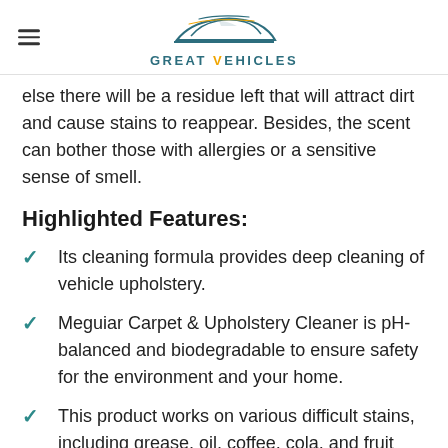GREAT VEHICLES
else there will be a residue left that will attract dirt and cause stains to reappear. Besides, the scent can bother those with allergies or a sensitive sense of smell.
Highlighted Features:
Its cleaning formula provides deep cleaning of vehicle upholstery.
Meguiar Carpet & Upholstery Cleaner is pH-balanced and biodegradable to ensure safety for the environment and your home.
This product works on various difficult stains, including grease, oil, coffee, cola, and fruit punch. It